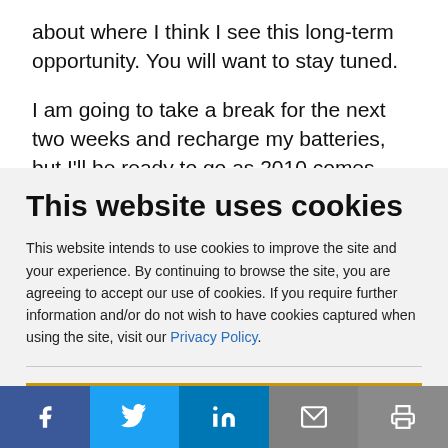about where I think I see this long-term opportunity. You will want to stay tuned.
I am going to take a break for the next two weeks and recharge my batteries, but I'll be ready to go as 2010 comes around. Let me take this opportunity to wish
This website uses cookies
This website intends to use cookies to improve the site and your experience. By continuing to browse the site, you are agreeing to accept our use of cookies. If you require further information and/or do not wish to have cookies captured when using the site, visit our Privacy Policy.
ACCEPT COOKIES
[Figure (other): Social media sharing bar with Facebook, Twitter, LinkedIn, email, and print icons]